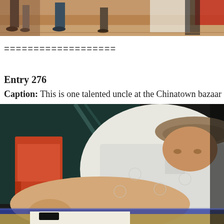[Figure (photo): Top portion of a photo showing people's feet and legs standing on a concrete floor, partially cropped]
===================
Entry 276
Caption: This is one talented uncle at the Chinatown bazaar du
[Figure (photo): A man wearing a straw hat and white traditional Chinese shirt (Tang suit) leaning over a table, writing or doing calligraphy. An orange chair is visible in the background along with dark teal lighting.]